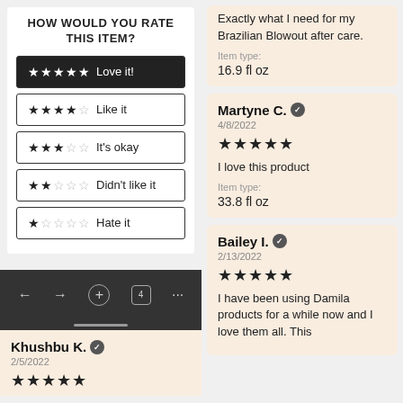HOW WOULD YOU RATE THIS ITEM?
★★★★★ Love it!
★★★★☆ Like it
★★★☆☆ It's okay
★★☆☆☆ Didn't like it
★☆☆☆☆ Hate it
Exactly what I need for my Brazilian Blowout after care.
Item type:
16.9 fl oz
Martyne C. ✓
4/8/2022
★★★★★
I love this product
Item type:
33.8 fl oz
Bailey I. ✓
2/13/2022
★★★★★
I have been using Damila products for a while now and I love them all. This
Khushbu K. ✓
2/5/2022
★★★★★